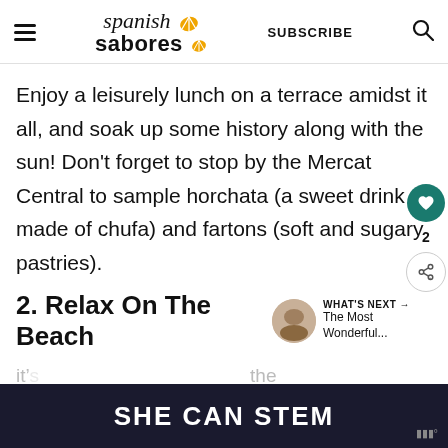spanish sabores | SUBSCRIBE
Enjoy a leisurely lunch on a terrace amidst it all, and soak up some history along with the sun! Don't forget to stop by the Mercat Central to sample horchata (a sweet drink made of chufa) and fartons (soft and sugary pastries).
2. Relax On The Beach
it's... the
[Figure (infographic): Advertisement banner reading SHE CAN STEM in white bold text on dark navy background]